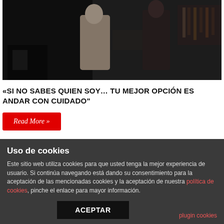[Figure (photo): Dark indoor scene with two people standing, possibly in a bar or restaurant setting with dim lighting]
«SI NO SABES QUIEN SOY… TU MEJOR OPCIÓN ES ANDAR CON CUIDADO"
Read More »
Tweet  Save
Uso de cookies
Este sitio web utiliza cookies para que usted tenga la mejor experiencia de usuario. Si continúa navegando está dando su consentimiento para la aceptación de las mencionadas cookies y la aceptación de nuestra política de cookies, pinche el enlace para mayor información.
ACEPTAR
plugin cookies